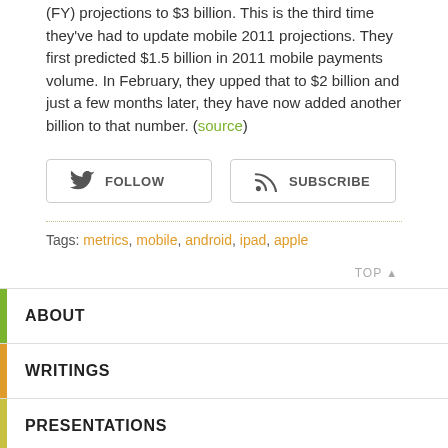(FY) projections to $3 billion. This is the third time they've had to update mobile 2011 projections. They first predicted $1.5 billion in 2011 mobile payments volume. In February, they upped that to $2 billion and just a few months later, they have now added another billion to that number. (source)
[Figure (other): Social buttons: FOLLOW (Twitter icon) and SUBSCRIBE (RSS icon)]
Tags: metrics, mobile, android, ipad, apple
TOP
ABOUT
WRITINGS
PRESENTATIONS